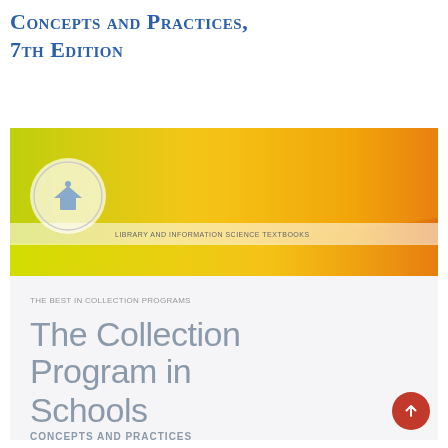Concepts and Practices, 7th Edition
[Figure (illustration): Book cover of 'The Collection Program in Schools: Concepts and Practices' showing a gradient orange-yellow-green background with the book title in large gray text and subtitle text below. A circular logo/seal appears in the upper left of the cover.]